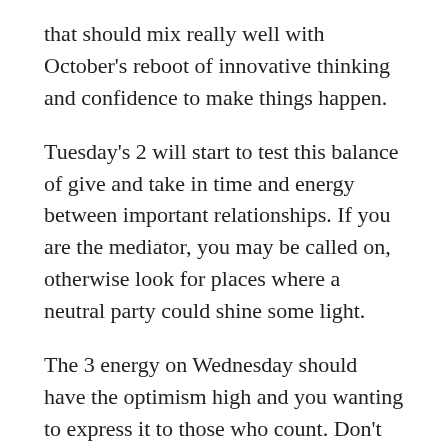that should mix really well with October's reboot of innovative thinking and confidence to make things happen.
Tuesday's 2 will start to test this balance of give and take in time and energy between important relationships. If you are the mediator, you may be called on, otherwise look for places where a neutral party could shine some light.
The 3 energy on Wednesday should have the optimism high and you wanting to express it to those who count. Don't limit your reach on the impact you can make, because that 5 universal energy of 2021 still wants expansiveness from you.
On Thursday, the 4 energy may hold up the signs that shows where the limitations are. This